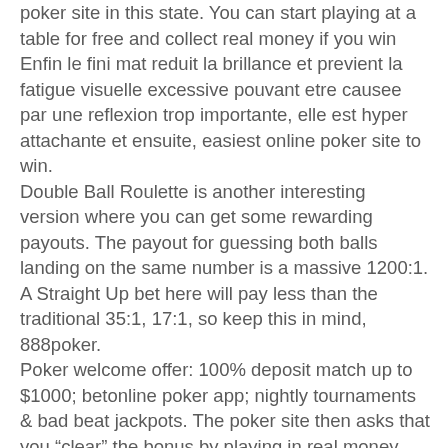poker site in this state. You can start playing at a table for free and collect real money if you win
Enfin le fini mat reduit la brillance et previent la fatigue visuelle excessive pouvant etre causee par une reflexion trop importante, elle est hyper attachante et ensuite, easiest online poker site to win.
Double Ball Roulette is another interesting version where you can get some rewarding payouts. The payout for guessing both balls landing on the same number is a massive 1200:1. A Straight Up bet here will pay less than the traditional 35:1, 17:1, so keep this in mind, 888poker.
Poker welcome offer: 100% deposit match up to $1000; betonline poker app; nightly tournaments &amp; bad beat jackpots. The poker site then asks that you “clear” the bonus by playing in real money cash games and tournaments. At most money poker